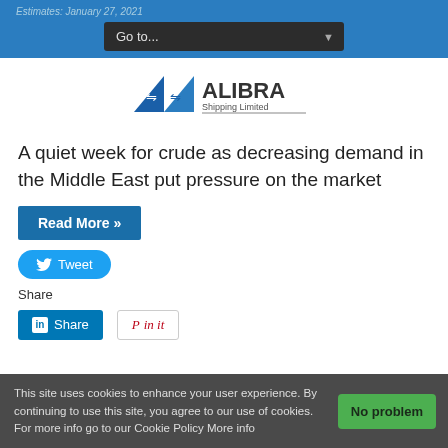Go to...
[Figure (logo): Alibra Shipping Limited logo with blue ship/wave icon and company name]
A quiet week for crude as decreasing demand in the Middle East put pressure on the market
Read More »
Tweet
Share
Share
Pin it
This site uses cookies to enhance your user experience. By continuing to use this site, you agree to our use of cookies. For more info go to our Cookie Policy More info